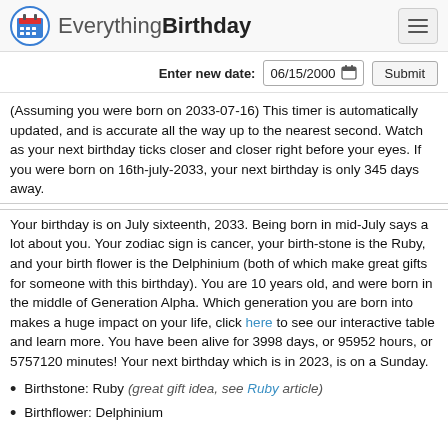EverythingBirthday
Enter new date: 06/15/2000  Submit
(Assuming you were born on 2033-07-16) This timer is automatically updated, and is accurate all the way up to the nearest second. Watch as your next birthday ticks closer and closer right before your eyes. If you were born on 16th-july-2033, your next birthday is only 345 days away.
Your birthday is on July sixteenth, 2033. Being born in mid-July says a lot about you. Your zodiac sign is cancer, your birth-stone is the Ruby, and your birth flower is the Delphinium (both of which make great gifts for someone with this birthday). You are 10 years old, and were born in the middle of Generation Alpha. Which generation you are born into makes a huge impact on your life, click here to see our interactive table and learn more. You have been alive for 3998 days, or 95952 hours, or 5757120 minutes! Your next birthday which is in 2023, is on a Sunday.
Birthstone: Ruby (great gift idea, see Ruby article)
Birthflower: Delphinium